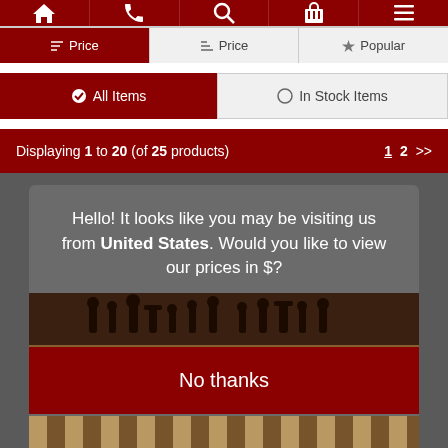Navigation bar with home, phone, search, basket, menu icons
Price | Price | Popular — sort filter buttons
All Items | In Stock Items — filter buttons
Displaying 1 to 20 (of 25 products)   1 2 >>
Hello! It looks like you may be visiting us from United States. Would you like to view our prices in $?
No thanks
Yes please!